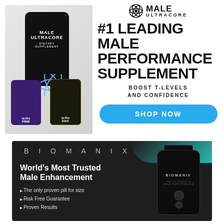[Figure (advertisement): Male Ultracore supplement advertisement. Left side shows a hand holding a black bottle labeled MALE ULTRACORE with an atom icon, plus two smaller bottles (ULTRA PRIME purple, ULTRA EDGE dark). Right side shows the Male Ultracore logo, headline '#1 LEADING MALE PERFORMANCE SUPPLEMENT', subtext 'BOOST T-LEVELS AND CONFIDENCE', and a blue 'SHOP NOW' button.]
[Figure (advertisement): Biomanix advertisement on dark background. Shows 'BIOMANIX' brand name in spaced letters, headline 'World's Most Trusted Male Enhancement', bullet points: 'The only proven pill for size', 'Risk Free Guarantee', 'Proven Results'. Right side shows a black Biomanix supplement bottle.]